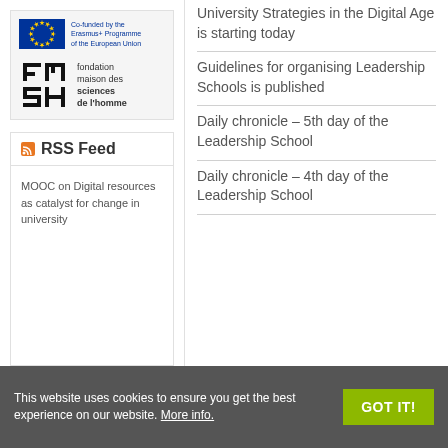[Figure (logo): EU Erasmus+ Programme logo with flag and text: Co-funded by the Erasmus+ Programme of the European Union]
[Figure (logo): Fondation Maison des sciences de l'homme (FMSH) logo with stylized icon and text]
RSS Feed
MOOC on Digital resources as catalyst for change in university
University Strategies in the Digital Age is starting today
Guidelines for organising Leadership Schools is published
Daily chronicle – 5th day of the Leadership School
Daily chronicle – 4th day of the Leadership School
This website uses cookies to ensure you get the best experience on our website. More info.